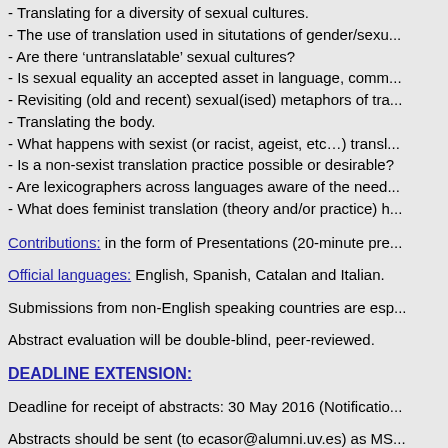- Translating for a diversity of sexual cultures.
- The use of translation used in situtations of gender/sexu...
- Are there ‘untranslatable’ sexual cultures?
- Is sexual equality an accepted asset in language, comm...
- Revisiting (old and recent) sexual(ised) metaphors of tra...
- Translating the body.
- What happens with sexist (or racist, ageist, etc…) transl...
- Is a non-sexist translation practice possible or desirable?
- Are lexicographers across languages aware of the need...
- What does feminist translation (theory and/or practice) h...
Contributions: in the form of Presentations (20-minute pre...
Official languages: English, Spanish, Catalan and Italian.
Submissions from non-English speaking countries are esp...
Abstract evaluation will be double-blind, peer-reviewed.
DEADLINE EXTENSION:
Deadline for receipt of abstracts: 30 May 2016 (Notificatio...
Abstracts should be sent (to ecasor@alumni.uv.es) as MS...
- Name(s) of author(s)
- Author affiliation(s) – university or institution, e-mail, pho...